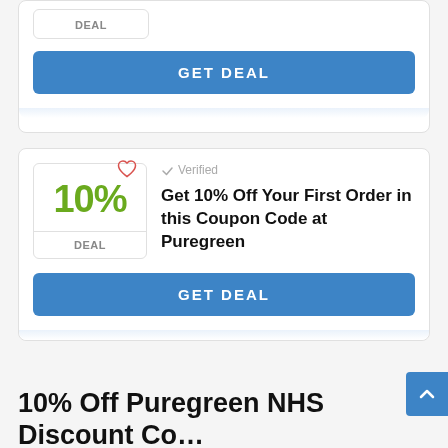DEAL
GET DEAL
✓ Verified
10%
DEAL
Get 10% Off Your First Order in this Coupon Code at Puregreen
GET DEAL
10% Off Puregreen NHS Discount Code and Promo Code